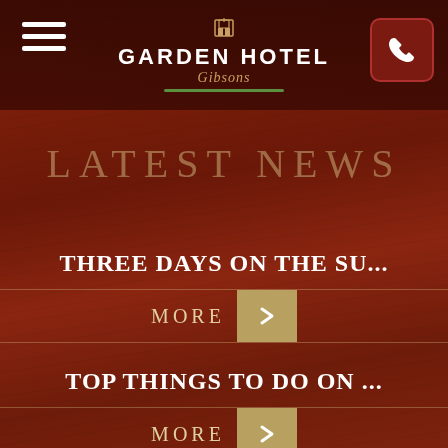[Figure (logo): Garden Hotel Gibsons logo with icon, bold text, italic script, and green underline on dark header bar]
LATEST NEWS
THREE DAYS ON THE SU...
MORE
TOP THINGS TO DO ON ...
MORE